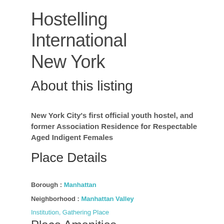Hostelling International New York
About this listing
New York City's first official youth hostel, and former Association Residence for Respectable Aged Indigent Females
Place Details
Borough : Manhattan
Neighborhood : Manhattan Valley
Institution, Gathering Place
Place Amenities